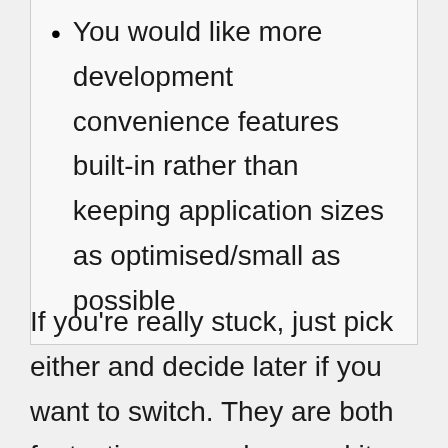You would like more development convenience features built-in rather than keeping application sizes as optimised/small as possible
If you're really stuck, just pick either and decide later if you want to switch. They are both fantastic approaches, and it isn't that important of a decision - you can always come back and attempt the other approach if you feel like you want to diversify with